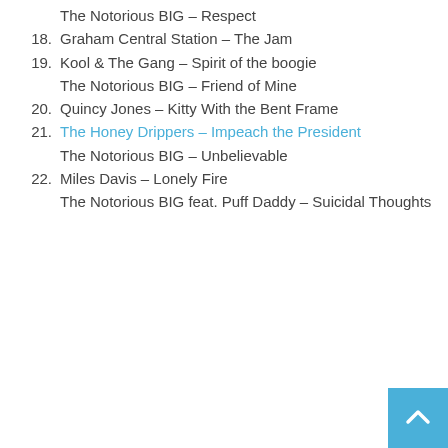The Notorious BIG – Respect
18. Graham Central Station – The Jam
19. Kool & The Gang – Spirit of the boogie
The Notorious BIG – Friend of Mine
20. Quincy Jones – Kitty With the Bent Frame
21. The Honey Drippers – Impeach the President
The Notorious BIG – Unbelievable
22. Miles Davis – Lonely Fire
The Notorious BIG feat. Puff Daddy – Suicidal Thoughts